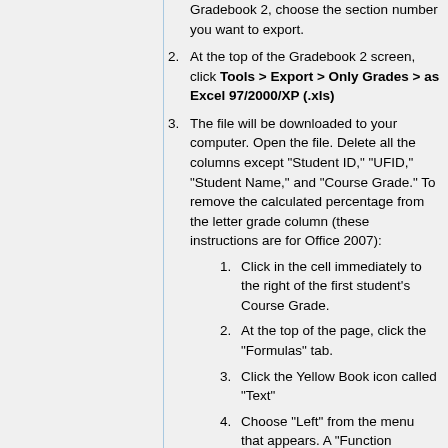Gradebook 2, choose the section number you want to export.
At the top of the Gradebook 2 screen, click Tools > Export > Only Grades > as Excel 97/2000/XP (.xls)
The file will be downloaded to your computer. Open the file. Delete all the columns except "Student ID," "UFID," "Student Name," and "Course Grade." To remove the calculated percentage from the letter grade column (these instructions are for Office 2007):
Click in the cell immediately to the right of the first student's Course Grade.
At the top of the page, click the "Formulas" tab.
Click the Yellow Book icon called "Text"
Choose "Left" from the menu that appears. A "Function Arguments" box appears.